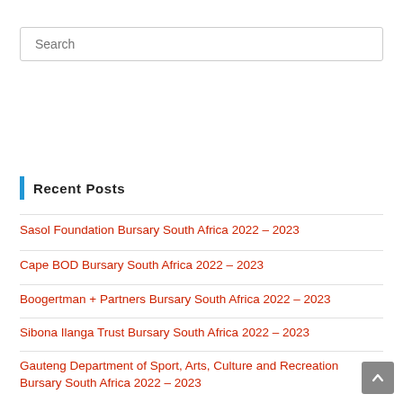Search
Recent Posts
Sasol Foundation Bursary South Africa 2022 – 2023
Cape BOD Bursary South Africa 2022 – 2023
Boogertman + Partners Bursary South Africa 2022 – 2023
Sibona Ilanga Trust Bursary South Africa 2022 – 2023
Gauteng Department of Sport, Arts, Culture and Recreation Bursary South Africa 2022 – 2023